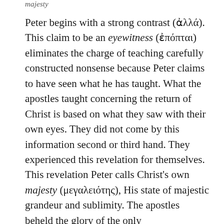majesty
Peter begins with a strong contrast (ἀλλά). This claim to be an eyewitness (ἐπόπται) eliminates the charge of teaching carefully constructed nonsense because Peter claims to have seen what he has taught. What the apostles taught concerning the return of Christ is based on what they saw with their own eyes. They did not come by this information second or third hand. They experienced this revelation for themselves. This revelation Peter calls Christ's own majesty (μεγαλειότης), His state of majestic grandeur and sublimity. The apostles beheld the glory of the only begotten (Jesus) and the...